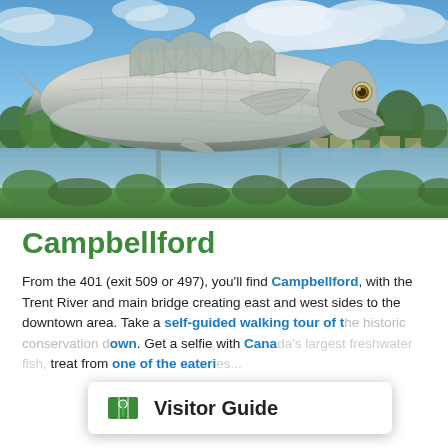[Figure (photo): Large metallic silver fish sculpture mounted on poles, photographed against a cloudy blue sky with a river and treeline in the background. The sculpture depicts a bass or similar fish with detailed scale texturing.]
Campbellford
From the 401 (exit 509 or 497), you'll find Campbellford, with the Trent River and main bridge creating east and west sides to the downtown area. Take a self-guided walking tour of t[he historic conservation d]own. Get a selfie with Cana[da's largest freshwater fish,] treat from one of the eateri[es...]
[Figure (other): Visitor Guide popup overlay with map icon and bold text 'Visitor Guide' on white background with rounded corners and shadow]